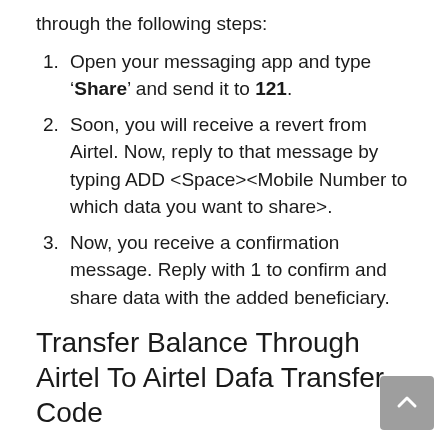through the following steps:
Open your messaging app and type 'Share' and send it to 121.
Soon, you will receive a revert from Airtel. Now, reply to that message by typing ADD <Space><Mobile Number to which data you want to share>.
Now, you receive a confirmation message. Reply with 1 to confirm and share data with the added beneficiary.
Transfer Balance Through Airtel To Airtel Dafa Transfer Code
There are various amounts of internet data that you can share by using the Airtel data